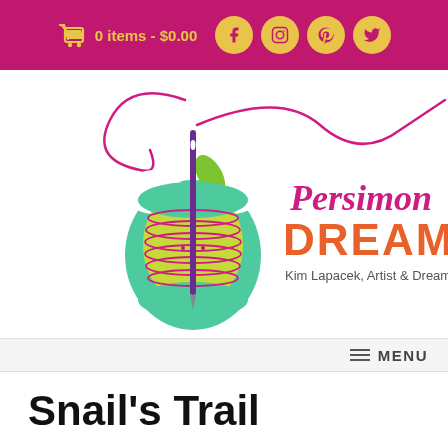0 items - $0.00
[Figure (logo): Persimon Dreams logo — a spool of thread shaped like an apple core with a needle and thread through it, with script text 'Persimon' and bold orange text 'DREAMS', subtitle 'Kim Lapacek, Artist & Dreamer']
☰ MENU
Snail's Trail